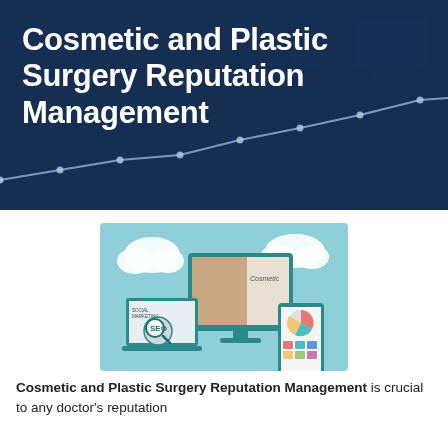Cosmetic and Plastic Surgery Reputation Management
[Figure (illustration): Digital marketing illustration showing a desktop monitor with a woman's face and 'Cosmetic' text, a laptop with SEO content, a tablet/phone with pie chart and colored tiles, and cloud icons, on a light blue background.]
Cosmetic and Plastic Surgery Reputation Management is crucial to any doctor's reputation